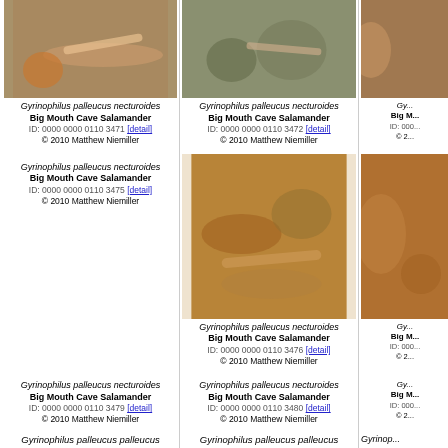[Figure (photo): Photo of Gyrinophilus palleucus necturoides salamander on rocky/sandy substrate]
Gyrinophilus palleucus necturoides
Big Mouth Cave Salamander
ID: 0000 0000 0110 3471 [detail]
© 2010 Matthew Niemiller
[Figure (photo): Photo of Gyrinophilus palleucus necturoides salamander near rocks]
Gyrinophilus palleucus necturoides
Big Mouth Cave Salamander
ID: 0000 0000 0110 3472 [detail]
© 2010 Matthew Niemiller
[Figure (photo): Partial photo of Gyrinophilus palleucus necturoides (cropped right edge)]
Gy...
Big M...
ID: 000...
© 2...
Gyrinophilus palleucus necturoides
Big Mouth Cave Salamander
ID: 0000 0000 0110 3475 [detail]
© 2010 Matthew Niemiller
[Figure (photo): Photo of Gyrinophilus palleucus necturoides salamander on orange rocky substrate]
[Figure (photo): Partial photo (cropped right edge) of Gyrinophilus palleucus necturoides on rocky substrate]
Gyrinophilus palleucus necturoides
Big Mouth Cave Salamander
ID: 0000 0000 0110 3476 [detail]
© 2010 Matthew Niemiller
Gy...
Big M...
ID: 000...
© 2...
Gyrinophilus palleucus necturoides
Big Mouth Cave Salamander
ID: 0000 0000 0110 3479 [detail]
© 2010 Matthew Niemiller
Gyrinophilus palleucus necturoides
Big Mouth Cave Salamander
ID: 0000 0000 0110 3480 [detail]
© 2010 Matthew Niemiller
Gy...
Big M...
ID: 000...
© 2...
Gyrinophilus palleucus palleucus
Gyrinophilus palleucus palleucus
Gyrinop...